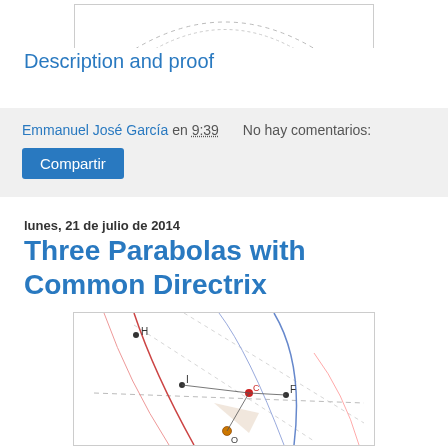[Figure (illustration): Top portion of a geometric diagram (partially visible at top of page), showing dashed curves on white background.]
Description and proof
Emmanuel José García en 9:39   No hay comentarios:
Compartir
lunes, 21 de julio de 2014
Three Parabolas with Common Directrix
[Figure (illustration): Geometric diagram showing three parabolas with a common directrix. Points labeled H, I, C, F, O and others visible. Blue, red, and pink curves with dashed reference lines on white background.]